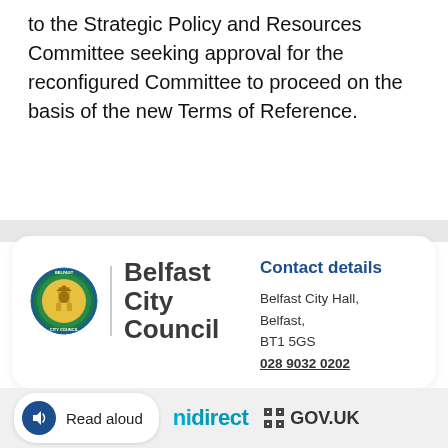to the Strategic Policy and Resources Committee seeking approval for the reconfigured Committee to proceed on the basis of the new Terms of Reference.
[Figure (logo): Belfast City Council logo with circular crest and council name text]
Contact details
Belfast City Hall,
Belfast,
BT1 5GS
028 9032 0202
Read aloud   nidirect   GOV.UK